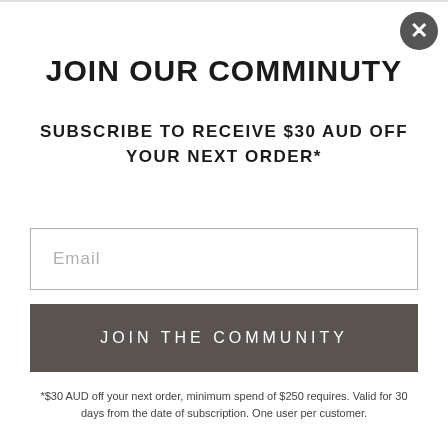JOIN OUR COMMINUTY
SUBSCRIBE TO RECEIVE $30 AUD OFF YOUR NEXT ORDER*
Email
JOIN THE COMMUNITY
*$30 AUD off your next order, minimum spend of $250 requires. Valid for 30 days from the date of subscription. One user per customer.